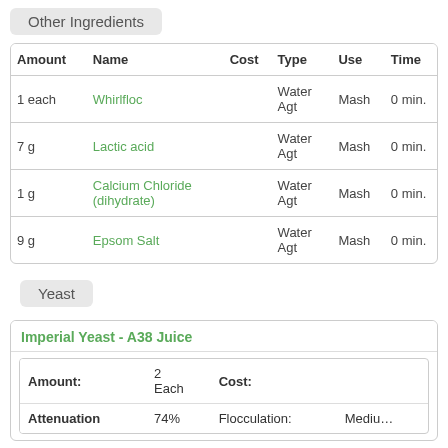Other Ingredients
| Amount | Name | Cost | Type | Use | Time |
| --- | --- | --- | --- | --- | --- |
| 1 each | Whirlfloc |  | Water Agt | Mash | 0 min. |
| 7 g | Lactic acid |  | Water Agt | Mash | 0 min. |
| 1 g | Calcium Chloride (dihydrate) |  | Water Agt | Mash | 0 min. |
| 9 g | Epsom Salt |  | Water Agt | Mash | 0 min. |
Yeast
Imperial Yeast - A38 Juice
|  |  |  |  |
| --- | --- | --- | --- |
| Amount: | 2 Each | Cost: |  |
| Attenuation | 74% | Flocculation: | Medium |